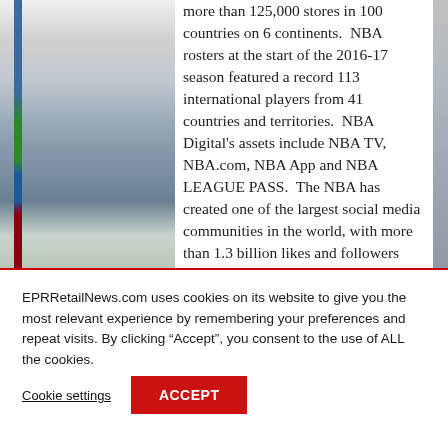[Figure (photo): Left side: partial photo of retail/store items with vertical colored bar (blue, green, dark blue, red). Right side: partial image strip.]
more than 125,000 stores in 100 countries on 6 continents. NBA rosters at the start of the 2016-17 season featured a record 113 international players from 41 countries and territories. NBA Digital's assets include NBA TV, NBA.com, NBA App and NBA LEAGUE PASS. The NBA has created one of the largest social media communities in the world, with more than 1.3 billion likes and followers globally across all
EPRRetailNews.com uses cookies on its website to give you the most relevant experience by remembering your preferences and repeat visits. By clicking “Accept”, you consent to the use of ALL the cookies.
Cookie settings
ACCEPT